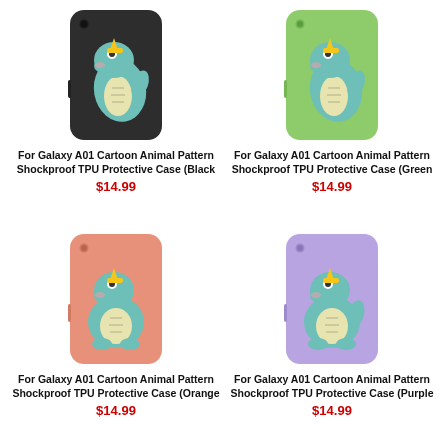[Figure (photo): Black Samsung Galaxy A01 phone case with cartoon crocodile/dinosaur animal pattern]
For Galaxy A01 Cartoon Animal Pattern Shockproof TPU Protective Case (Black
$14.99
[Figure (photo): Green Samsung Galaxy A01 phone case with cartoon crocodile/dinosaur animal pattern]
For Galaxy A01 Cartoon Animal Pattern Shockproof TPU Protective Case (Green
$14.99
[Figure (photo): Orange/pink Samsung Galaxy A01 phone case with cartoon crocodile/dinosaur animal pattern]
For Galaxy A01 Cartoon Animal Pattern Shockproof TPU Protective Case (Orange
$14.99
[Figure (photo): Purple Samsung Galaxy A01 phone case with cartoon crocodile/dinosaur animal pattern]
For Galaxy A01 Cartoon Animal Pattern Shockproof TPU Protective Case (Purple
$14.99